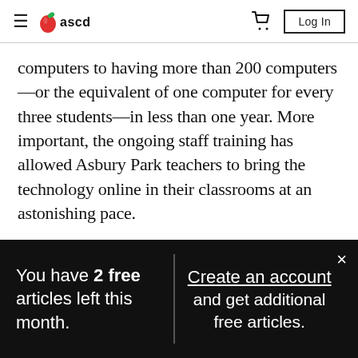ASCD — Log In
computers to having more than 200 computers—or the equivalent of one computer for every three students—in less than one year. More important, the ongoing staff training has allowed Asbury Park teachers to bring the technology online in their classrooms at an astonishing pace.
During the 1997–98 school year, training
You have 2 free articles left this month.
Create an account and get additional free articles.